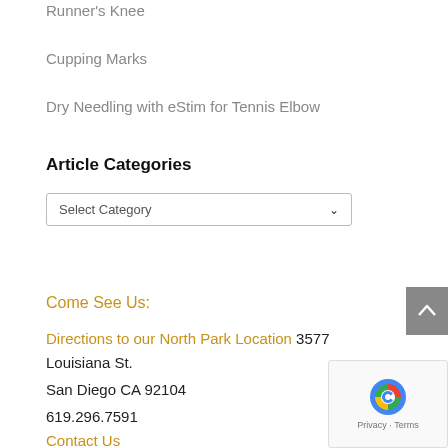Runner's Knee
Cupping Marks
Dry Needling with eStim for Tennis Elbow
Article Categories
Select Category
Come See Us:
Directions to our North Park Location 3577 Louisiana St.
San Diego CA 92104
619.296.7591
Contact Us